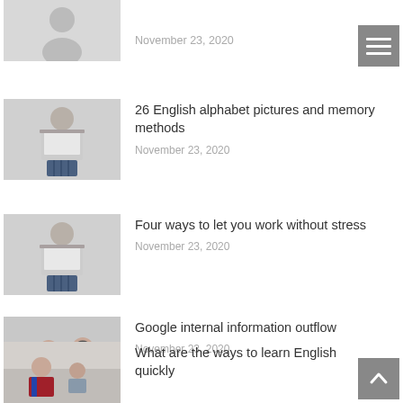[Figure (photo): Partial thumbnail photo at top, person holding white board, cropped]
November 23, 2020
[Figure (photo): Young man with glasses holding a white board against grey background]
26 English alphabet pictures and memory methods
November 23, 2020
[Figure (photo): Young man with glasses holding a white board against grey background]
Four ways to let you work without stress
November 23, 2020
[Figure (photo): Two people at a desk with a laptop, woman in striped shirt, man in yellow sweater]
Google internal information outflow
November 23, 2020
[Figure (photo): Students in classroom, girl in red and blue shirt in foreground]
What are the ways to learn English quickly